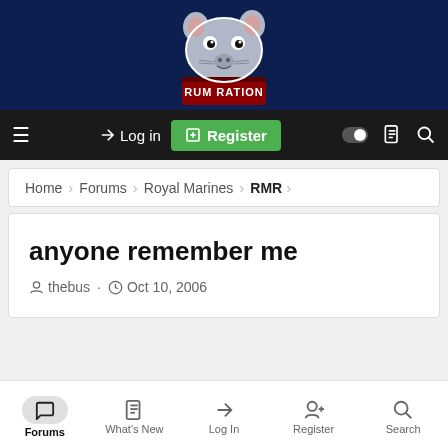[Figure (logo): Rum Ration forum logo with cartoon rat mascot on dark navy background]
☰  →) Log in  [+] Register  ◉  📄  🔍
Home › Forums › Royal Marines › RMR
anyone remember me
thebus · Oct 10, 2006
Forums  What's New  Log In  Register  Search